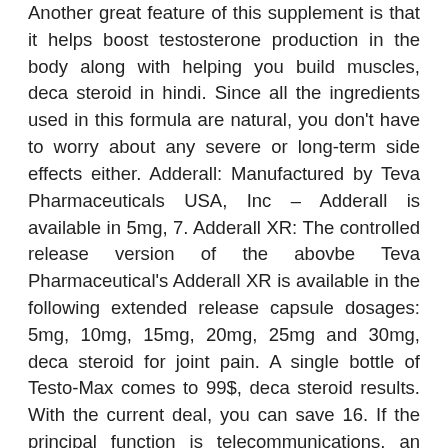Another great feature of this supplement is that it helps boost testosterone production in the body along with helping you build muscles, deca steroid in hindi. Since all the ingredients used in this formula are natural, you don't have to worry about any severe or long-term side effects either. Adderall: Manufactured by Teva Pharmaceuticals USA, Inc – Adderall is available in 5mg, 7. Adderall XR: The controlled release version of the abovbe Teva Pharmaceutical's Adderall XR is available in the following extended release capsule dosages: 5mg, 10mg, 15mg, 20mg, 25mg and 30mg, deca steroid for joint pain. A single bottle of Testo-Max comes to 99$, deca steroid results. With the current deal, you can save 16. If the principal function is telecommunications, an APP is not required. Computers, related equipment, or software performing telecommunication or local area network functions will be evaluated against the telecommunications performance characteristics of Category 5 Part 1, while information